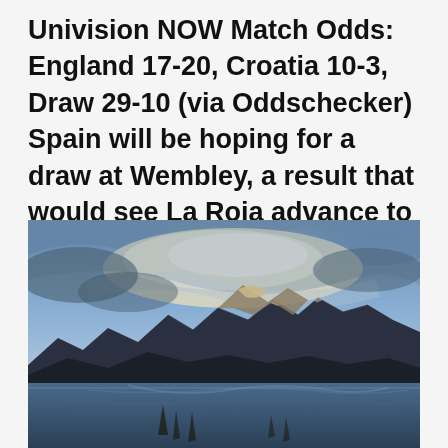Univision NOW Match Odds: England 17-20, Croatia 10-3, Draw 29-10 (via Oddschecker) Spain will be hoping for a draw at Wembley, a result that would see La Roja advance to the
[Figure (photo): Landscape photograph of a mountain lake scene. Dramatic cloudy blue sky with light breaking through clouds illuminating a rocky mountain peak. Dark mountains reflected in the still, calm lake water in the foreground.]